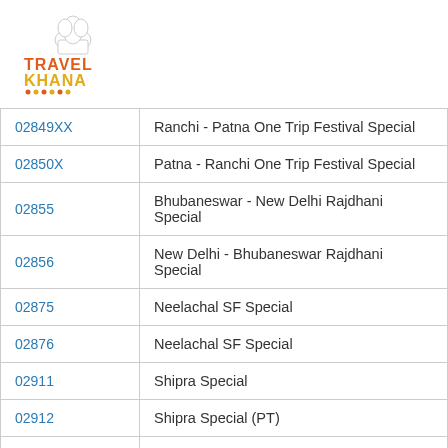[Figure (logo): TravelKhana logo with chef hat icon and colored text TRAVEL KHANA with decorative dots underline]
| 02849XX | Ranchi - Patna One Trip Festival Special |
| 02850X | Patna - Ranchi One Trip Festival Special |
| 02855 | Bhubaneswar - New Delhi Rajdhani Special |
| 02856 | New Delhi - Bhubaneswar Rajdhani Special |
| 02875 | Neelachal SF Special |
| 02876 | Neelachal SF Special |
| 02911 | Shipra Special |
| 02912 | Shipra Special (PT) |
| 02937 | Garba SF Special (PT) |
| 02938 | Garba SF Special (PT) |